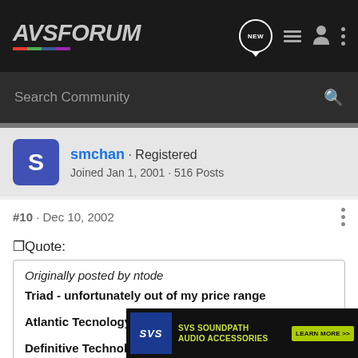AVS FORUM
Search Community
smchan · Registered
Joined Jan 1, 2001 · 516 Posts
#10 · Dec 10, 2002
Quote:
Originally posted by ntode
Triad - unfortunately out of my price range
Atlantic Tecnology
Definitive Technology
B&W
[Figure (other): SVS Soundpath Audio Accessories advertisement banner]